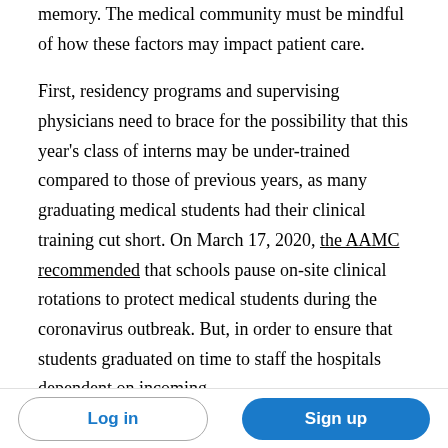memory. The medical community must be mindful of how these factors may impact patient care.
First, residency programs and supervising physicians need to brace for the possibility that this year’s class of interns may be under-trained compared to those of previous years, as many graduating medical students had their clinical training cut short. On March 17, 2020, the AAMC recommended that schools pause on-site clinical rotations to protect medical students during the coronavirus outbreak. But, in order to ensure that students graduated on time to staff the hospitals dependent on incoming
Log in | Sign up